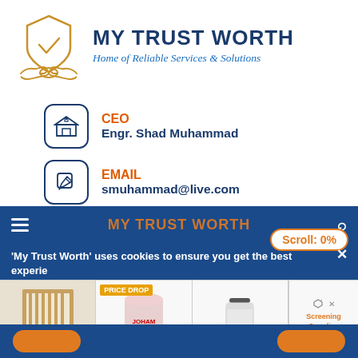[Figure (logo): My Trust Worth logo: shield with checkmark and handshake icon in orange/tan line art]
MY TRUST WORTH
Home of Reliable Services & Solutions
CEO
Engr. Shad Muhammad
EMAIL
smuhammad@live.com
MY TRUST WORTH
'My Trust Worth' uses cookies to ensure you get the best experience
[Figure (screenshot): Advertisement strip showing screen print frames, a bucket with price drop badge, a jar, and Screening Supplies Store.com text]